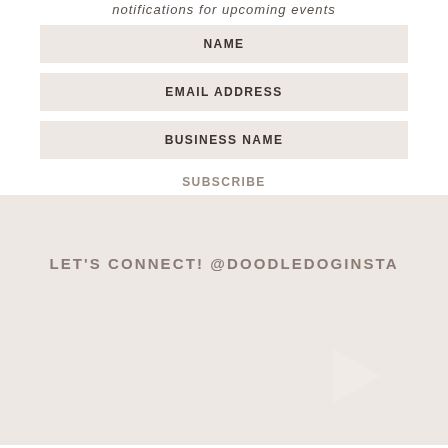notifications for upcoming events
NAME
EMAIL ADDRESS
BUSINESS NAME
SUBSCRIBE
LET'S CONNECT! @DOODLEDOGINSTA
[Figure (illustration): Play button triangle icon in light pink/white color on pink background, positioned in lower right area]